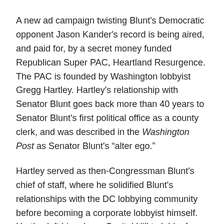A new ad campaign twisting Blunt's Democratic opponent Jason Kander's record is being aired, and paid for, by a secret money funded Republican Super PAC, Heartland Resurgence. The PAC is founded by Washington lobbyist Gregg Hartley. Hartley's relationship with Senator Blunt goes back more than 40 years to Senator Blunt's first political office as a county clerk, and was described in the Washington Post as Senator Blunt's “alter ego.”
Hartley served as then-Congressman Blunt's chief of staff, where he solidified Blunt's relationships with the DC lobbying community before becoming a corporate lobbyist himself. Hartley left his role on Capitol Hill to lobby for Cassidy & Associates, where many of his first clients were major donors to Blunt's campaigns. He now runs his own lobbying firm, Cloakroom Advisors, LLC.